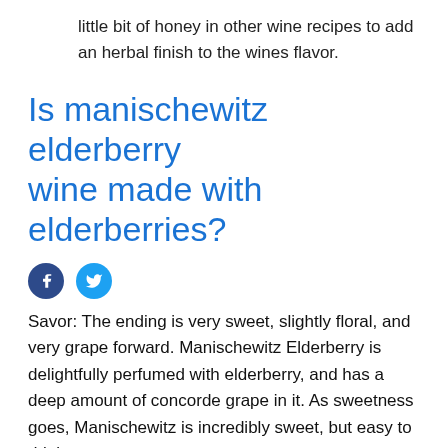little bit of honey in other wine recipes to add an herbal finish to the wines flavor.
Is manischewitz elderberry wine made with elderberries?
[Figure (other): Social media share icons: Facebook (dark blue circle with f) and Twitter (light blue circle with bird)]
Savor: The ending is very sweet, slightly floral, and very grape forward. Manischewitz Elderberry is delightfully perfumed with elderberry, and has a deep amount of concorde grape in it. As sweetness goes, Manischewitz is incredibly sweet, but easy to drink.